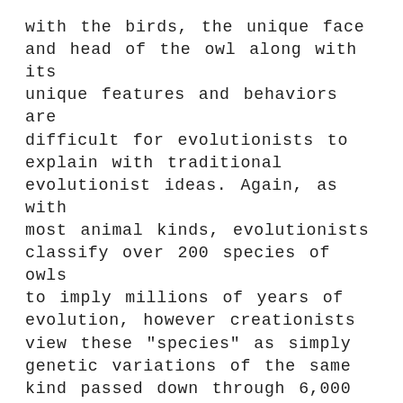with the birds, the unique face and head of the owl along with its unique features and behaviors are difficult for evolutionists to explain with traditional evolutionist ideas. Again, as with most animal kinds, evolutionists classify over 200 species of owls to imply millions of years of evolution, however creationists view these "species" as simply genetic variations of the same kind passed down through 6,000 years of time. Starting with the first pair of owls during Creation Week and the pairs preserved during the Flood of Noah, all of the owl species we see today are variations of what was preserved